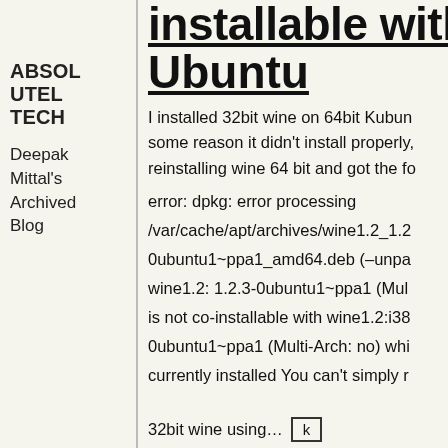installable with error Ubuntu
ABSOLUTELY TECH
Deepak Mittal's Archived Blog
I installed 32bit wine on 64bit Kubuntu, for some reason it didn't install properly, reinstalling wine 64 bit and got the following error: dpkg: error processing /var/cache/apt/archives/wine1.2_1.2.3-0ubuntu1~ppa1_amd64.deb (–unpack): wine1.2: 1.2.3-0ubuntu1~ppa1 (Multi-Arch: no) is not co-installable with wine1.2:i386 : 1.2.3-0ubuntu1~ppa1 (Multi-Arch: no) which is currently installed You can't simply remove 32bit wine using…